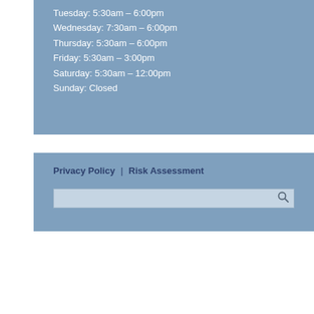Tuesday: 5:30am – 6:00pm
Wednesday: 7:30am – 6:00pm
Thursday: 5:30am – 6:00pm
Friday: 5:30am – 3:00pm
Saturday: 5:30am – 12:00pm
Sunday: Closed
Privacy Policy | Risk Assessment
[Figure (other): Search bar with magnifying glass icon]